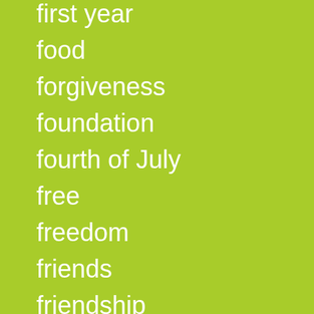first year
food
forgiveness
foundation
fourth of July
free
freedom
friends
friendship